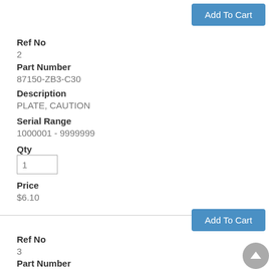[Figure (other): Add To Cart button at top right]
Ref No
2
Part Number
87150-ZB3-C30
Description
PLATE, CAUTION
Serial Range
1000001 - 9999999
Qty
1
Price
$6.10
[Figure (other): Add To Cart button below divider]
Ref No
3
Part Number
87168-ZC3-630